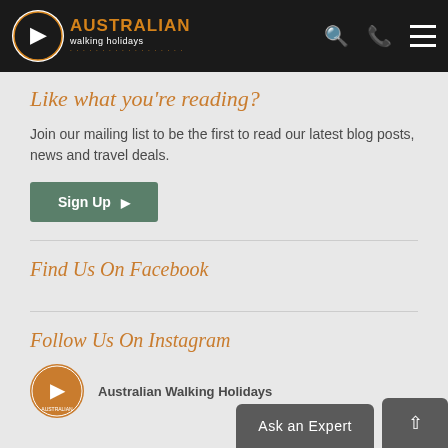Australian Walking Holidays
Like what you're reading?
Join our mailing list to be the first to read our latest blog posts, news and travel deals.
Sign Up
Find Us On Facebook
Follow Us On Instagram
Australian Walking Holidays
Ask an Expert